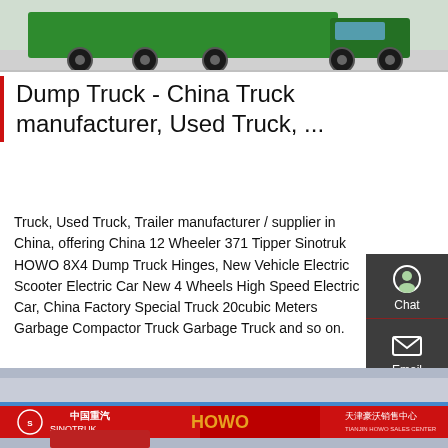[Figure (photo): Top view of a green dump truck chassis, showing the rear and side of the truck body with tires visible against a light concrete/asphalt background.]
Dump Truck - China Truck manufacturer, Used Truck, ...
Truck, Used Truck, Trailer manufacturer / supplier in China, offering China 12 Wheeler 371 Tipper Sinotruk HOWO 8X4 Dump Truck Hinges, New Vehicle Electric Scooter Electric Car New 4 Wheels High Speed Electric Car, China Factory Special Truck 20cubic Meters Garbage Compactor Truck Garbage Truck and so on.
[Figure (screenshot): Sidebar UI panel with dark background showing Chat, Email, Contact, and Top navigation icons in white on dark grey background.]
Get a Quote
[Figure (photo): Bottom photo showing a Sinotruk / HOWO dealership storefront with red signage reading 中国重汽 SINOTRUK, HOWO, and 天津豪沃销售中心 (Tianjin HOWO Sales Center).]